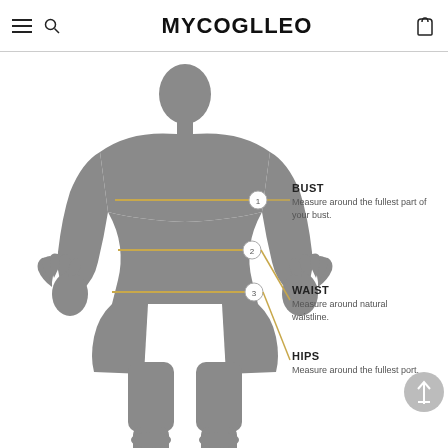MYCOGLLEO
[Figure (illustration): Body measurement diagram showing a female silhouette with three numbered measurement lines: 1-BUST, 2-WAIST, 3-HIPS, with golden/orange horizontal lines and angled lines pointing to labels on the right. A back-to-top button appears in bottom right.]
BUST
Measure around the fullest part of your bust.
WAIST
Measure around natural waistline.
HIPS
Measure around the fullest port.